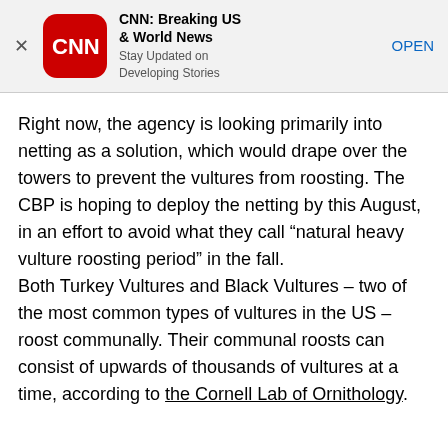[Figure (screenshot): CNN app advertisement banner with CNN logo, app name 'CNN: Breaking US & World News', tagline 'Stay Updated on Developing Stories', and an OPEN button]
Right now, the agency is looking primarily into netting as a solution, which would drape over the towers to prevent the vultures from roosting. The CBP is hoping to deploy the netting by this August, in an effort to avoid what they call “natural heavy vulture roosting period” in the fall.
Both Turkey Vultures and Black Vultures – two of the most common types of vultures in the US – roost communally. Their communal roosts can consist of upwards of thousands of vultures at a time, according to the Cornell Lab of Ornithology.